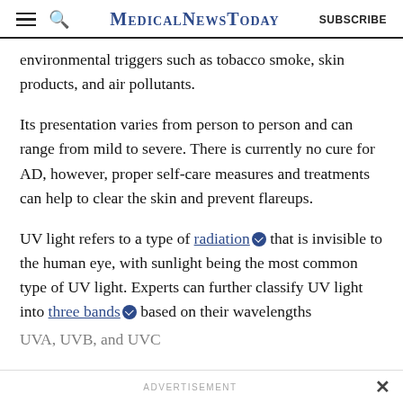MedicalNewsToday | SUBSCRIBE
environmental triggers such as tobacco smoke, skin products, and air pollutants.
Its presentation varies from person to person and can range from mild to severe. There is currently no cure for AD, however, proper self-care measures and treatments can help to clear the skin and prevent flareups.
UV light refers to a type of radiation that is invisible to the human eye, with sunlight being the most common type of UV light. Experts can further classify UV light into three bands based on their wavelengths
UVA, UVB, and UVC
ADVERTISEMENT